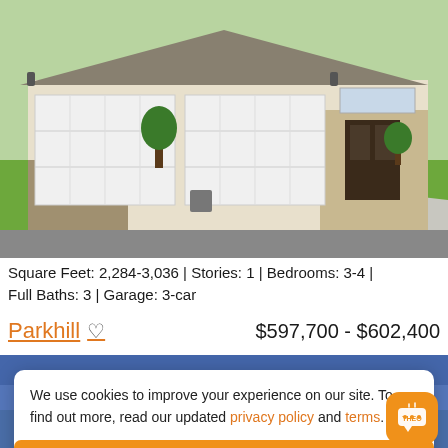[Figure (photo): Exterior photo of a single-story suburban home with white 3-car garage doors, stone/brick facade, green lawn and landscaping, blue sky]
Square Feet: 2,284-3,036 | Stories: 1 | Bedrooms: 3-4 | Full Baths: 3 | Garage: 3-car
Parkhill ♡   $597,700 - $602,400
[Figure (photo): Exterior photo of another home with blue sky background, partially obscured by cookie consent overlay]
We use cookies to improve your experience on our site. To find out more, read our updated privacy policy and terms.
I understand